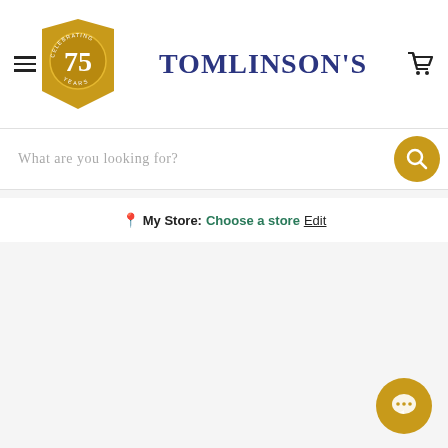[Figure (screenshot): Tomlinson's pet store website header with 75th anniversary badge, navigation hamburger menu, cart icon, search bar, and My Store selector]
TOMLINSON'S
What are you looking for?
My Store: Choose a store Edit